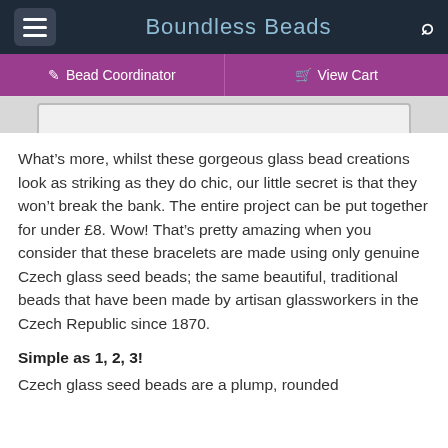Boundless Beads
[Figure (screenshot): Navigation bar with Bead Coordinator and View Cart buttons in purple]
[Figure (screenshot): Partial image strip showing top of a product image]
What’s more, whilst these gorgeous glass bead creations look as striking as they do chic, our little secret is that they won’t break the bank. The entire project can be put together for under £8. Wow! That’s pretty amazing when you consider that these bracelets are made using only genuine Czech glass seed beads; the same beautiful, traditional beads that have been made by artisan glassworkers in the Czech Republic since 1870.
Simple as 1, 2, 3!
Czech glass seed beads are a plump, rounded